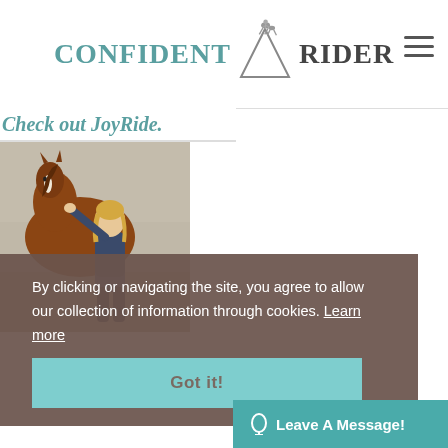CONFIDENT RIDER (logo with horse and rider icon)
Check out JoyRide.
[Figure (photo): Woman standing next to a chestnut horse, reaching up to pet it, outdoors in a sand arena]
By clicking or navigating the site, you agree to allow our collection of information through cookies.  Learn more
Got it!
Leave A Message!